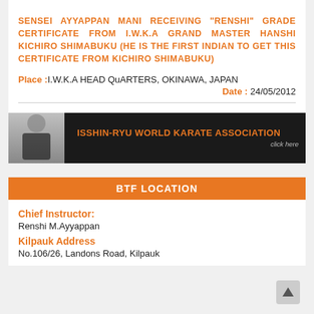SENSEI AYYAPPAN MANI RECEIVING "RENSHI" GRADE CERTIFICATE FROM I.W.K.A GRAND MASTER HANSHI KICHIRO SHIMABUKU (HE IS THE FIRST INDIAN TO GET THIS CERTIFICATE FROM KICHIRO SHIMABUKU)
Place :I.W.K.A HEAD QuARTERS, OKINAWA, JAPAN
Date : 24/05/2012
[Figure (photo): Banner for Isshin-Ryu World Karate Association with a person in black karate uniform on left and organization name on dark background]
BTF LOCATION
Chief Instructor:
Renshi M.Ayyappan
Kilpauk Address
No.106/26, Landons Road, Kilpauk